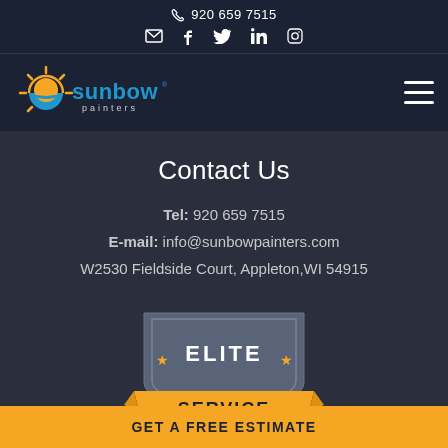920 659 7515
[Figure (logo): Sunbow Painters logo with sun graphic and text 'sunbow painters']
Contact Us
Tel: 920 659 7515
E-mail: info@sunbowpainters.com
W2530 Fieldside Court, Appleton,WI 54915
[Figure (illustration): Elite Service badge/shield in grey and orange colors]
GET A FREE ESTIMATE